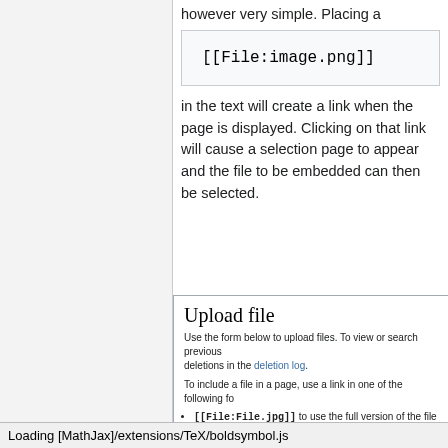however very simple. Placing a
[[File:image.png]]
in the text will create a link when the page is displayed. Clicking on that link will cause a selection page to appear and the file to be embedded can then be selected.
[Figure (screenshot): Upload file dialog from a wiki, showing form fields for Source filename and Destination filename (image.png), with upload instructions and file format notes.]
Loading [MathJax]/extensions/TeX/boldsymbol.js